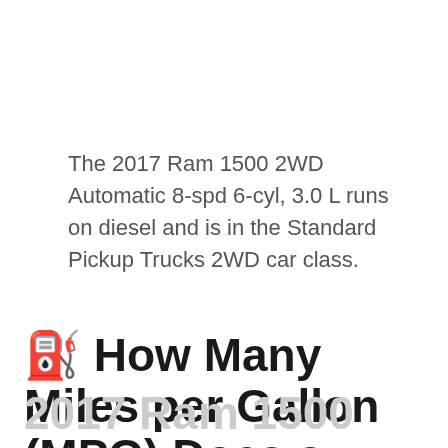The 2017 Ram 1500 2WD Automatic 8-spd 6-cyl, 3.0 L runs on diesel and is in the Standard Pickup Trucks 2WD car class.
⛽ How Many Miles per Gallon (MPG) Does a
2017 Ram 1500 2WD